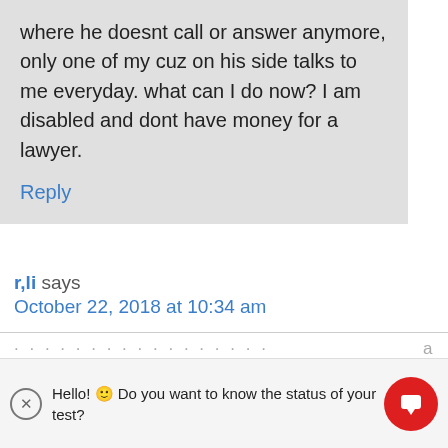where he doesnt call or answer anymore, only one of my cuz on his side talks to me everyday. what can I do now? I am disabled and dont have money for a lawyer.
Reply
r,li says
October 22, 2018 at 10:34 am
his son. whom the child was once very